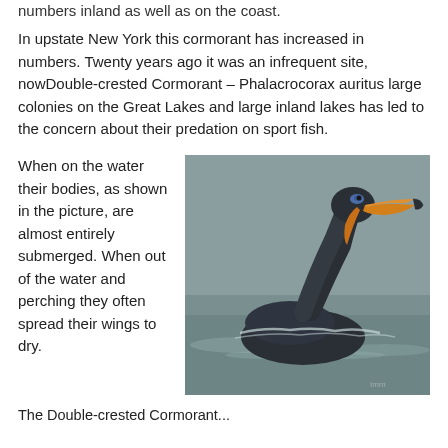numbers inland as well as on the coast.
In upstate New York this cormorant has increased in numbers. Twenty years ago it was an infrequent site, nowDouble-crested Cormorant – Phalacrocorax auritus large colonies on the Great Lakes and large inland lakes has led to the concern about their predation on sport fish.
When on the water their bodies, as shown in the picture, are almost entirely submerged. When out of the water and perching they often spread their wings to dry.
[Figure (photo): A Double-crested Cormorant swimming on water, showing its dark body mostly submerged, long neck stretched upward, orange-yellow bill and blue eye patch visible. Bird is photographed close-up on grey-green water.]
The Double-crested Cormorant...